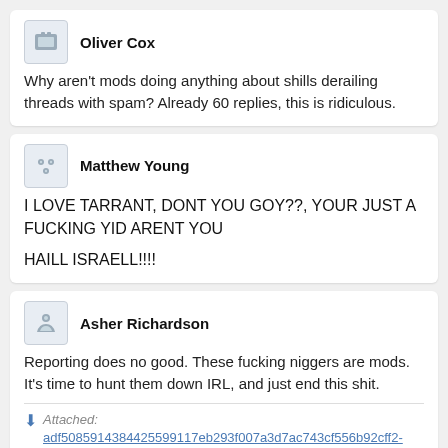Oliver Cox
Why aren't mods doing anything about shills derailing threads with spam? Already 60 replies, this is ridiculous.
Matthew Young
I LOVE TARRANT, DONT YOU GOY??, YOUR JUST A FUCKING YID ARENT YOU

HAILL ISRAELL!!!!
Asher Richardson
Reporting does no good. These fucking niggers are mods.
It's time to hunt them down IRL, and just end this shit.
Attached: adf5085914384425599117eb293f007a3d7ac743cf556b92cff2-